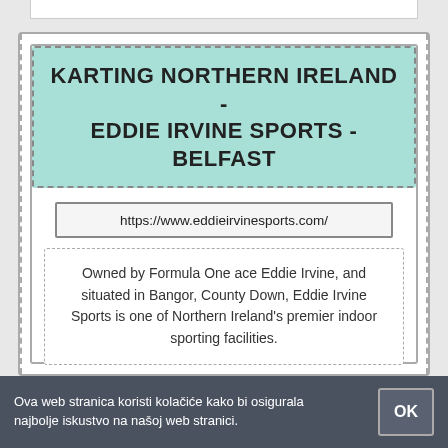KARTING NORTHERN IRELAND - EDDIE IRVINE SPORTS - BELFAST
https://www.eddieirvinesports.com/
Owned by Formula One ace Eddie Irvine, and situated in Bangor, County Down, Eddie Irvine Sports is one of Northern Ireland's premier indoor sporting facilities.
ONLINE
Ova web stranica koristi kolačiće kako bi osigurala najbolje iskustvo na našoj web stranici.